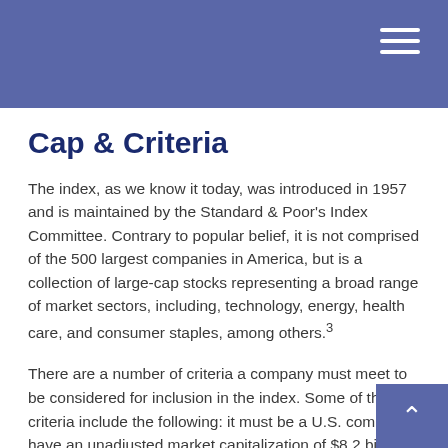Cap & Criteria
The index, as we know it today, was introduced in 1957 and is maintained by the Standard & Poor's Index Committee. Contrary to popular belief, it is not comprised of the 500 largest companies in America, but is a collection of large-cap stocks representing a broad range of market sectors, including, technology, energy, health care, and consumer staples, among others.3
There are a number of criteria a company must meet to be considered for inclusion in the index. Some of these criteria include the following: it must be a U.S. company, have an unadjusted market capitalization of $8.2 billion or more, have 50% of its stock available to the public, and have four consecutive quarters of positive earnings.4